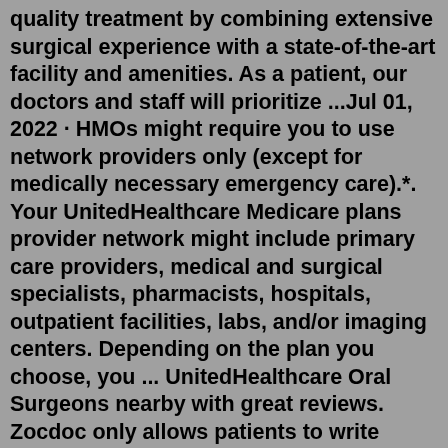quality treatment by combining extensive surgical experience with a state-of-the-art facility and amenities. As a patient, our doctors and staff will prioritize ...Jul 01, 2022 · HMOs might require you to use network providers only (except for medically necessary emergency care).*. Your UnitedHealthcare Medicare plans provider network might include primary care providers, medical and surgical specialists, pharmacists, hospitals, outpatient facilities, labs, and/or imaging centers. Depending on the plan you choose, you ... UnitedHealthcare Oral Surgeons nearby with great reviews. Zocdoc only allows patients to write reviews if we can verify they have seen the provider. Providers cannot request to alter or remove reviews. Highly recommended. Luis Carlos Morales, DDS. Dentist. Seattle, WA. 5.00 ( 6 reviews) In addition, oral surgeons - unlike other dental specialists - have the ability and training to administer anesthesia in an office where they perform their procedures. The anesthesia helps to get pain and